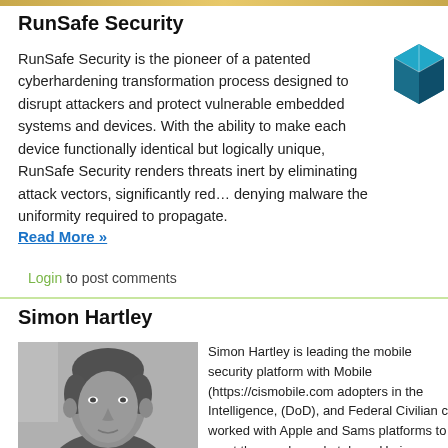RunSafe Security
RunSafe Security is the pioneer of a patented cyberhardening transformation process designed to disrupt attackers and protect vulnerable embedded systems and devices. With the ability to make each device functionally identical but logically unique, RunSafe Security renders threats inert by eliminating attack vectors, significantly red… denying malware the uniformity required to propagate.
Read More »
Login to post comments
Simon Hartley
[Figure (photo): Black and white headshot photo of Simon Hartley, a man with short hair facing slightly to the right.]
Simon Hartley is leading the mobile security platform with Mobile (https://cismobile.com adopters in the Intelligence, (DoD), and Federal Civilian c worked with Apple and Sams platforms to meet the needs marketplace. He is an adviso cybersecurity startups in the